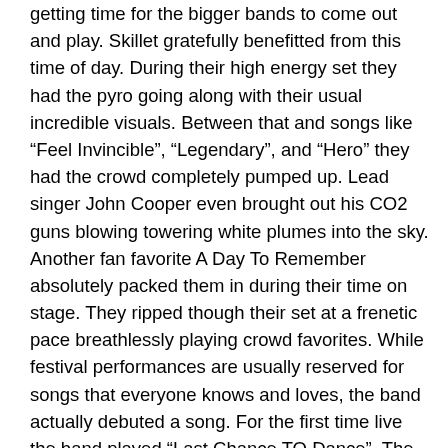getting time for the bigger bands to come out and play. Skillet gratefully benefitted from this time of day. During their high energy set they had the pyro going along with their usual incredible visuals. Between that and songs like “Feel Invincible”, “Legendary”, and “Hero” they had the crowd completely pumped up. Lead singer John Cooper even brought out his CO2 guns blowing towering white plumes into the sky. Another fan favorite A Day To Remember absolutely packed them in during their time on stage. They ripped though their set at a frenetic pace breathlessly playing crowd favorites. While festival performances are usually reserved for songs that everyone knows and loves, the band actually debuted a song. For the first time live the band played “Last Chance TO Dance”. The second to last band of the night is one of the most popular bands out there, Halestorm. Lzzy was on absolute fire and she and her band mates sounded phenomenal. If it seemed the crowd knew every song and was singing along its because the band played every hit song in their